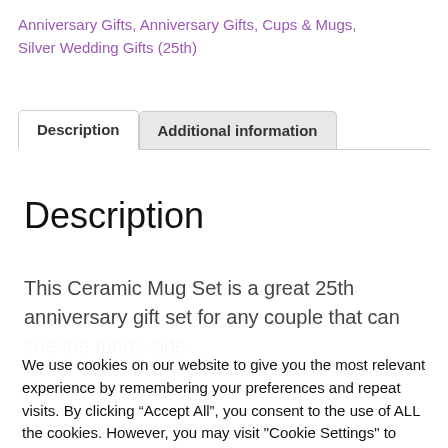Anniversary Gifts, Anniversary Gifts, Cups & Mugs, Silver Wedding Gifts (25th)
Description | Additional information
Description
This Ceramic Mug Set is a great 25th anniversary gift set for any couple that can see the funny side
We use cookies on our website to give you the most relevant experience by remembering your preferences and repeat visits. By clicking “Accept All”, you consent to the use of ALL the cookies. However, you may visit "Cookie Settings" to provide a controlled consent.
Cookie Settings | Accept All